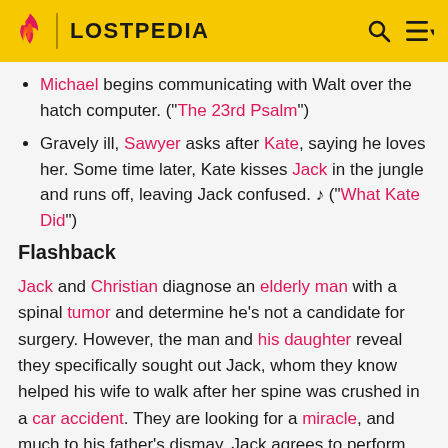LOSTPEDIA
Michael begins communicating with Walt over the hatch computer. ("The 23rd Psalm")
Gravely ill, Sawyer asks after Kate, saying he loves her. Some time later, Kate kisses Jack in the jungle and runs off, leaving Jack confused. ♪ ("What Kate Did")
Flashback
Jack and Christian diagnose an elderly man with a spinal tumor and determine he's not a candidate for surgery. However, the man and his daughter reveal they specifically sought out Jack, whom they know helped his wife to walk after her spine was crushed in a car accident. They are looking for a miracle, and much to his father's dismay, Jack agrees to perform